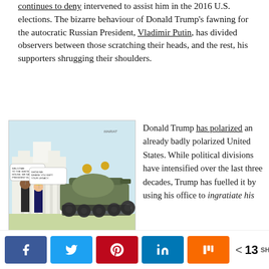continues to deny intervened to assist him in the 2016 U.S. elections. The bizarre behaviour of Donald Trump's fawning for the autocratic Russian President, Vladimir Putin, has divided observers between those scratching their heads, and the rest, his supporters shrugging their shoulders.
[Figure (illustration): Political cartoon showing two figures standing before a large military tank, with speech bubbles. Dated November 11, 2016.]
November 11, 2016
Donald Trump has polarized an already badly polarized United States. While political divisions have intensified over the last three decades, Trump has fuelled it by using his office to ingratiate his
[Figure (infographic): Social sharing bar with Facebook, Twitter, Pinterest, LinkedIn, Mix buttons and a share count of 13 SHARES]